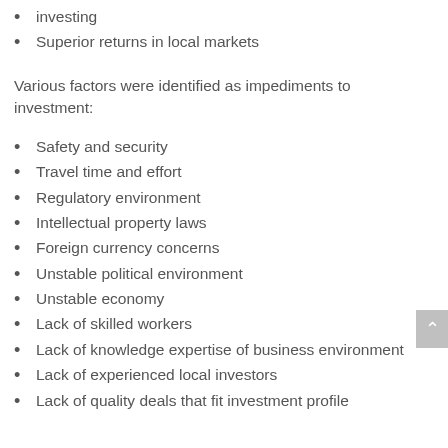investing
Superior returns in local markets
Various factors were identified as impediments to investment:
Safety and security
Travel time and effort
Regulatory environment
Intellectual property laws
Foreign currency concerns
Unstable political environment
Unstable economy
Lack of skilled workers
Lack of knowledge expertise of business environment
Lack of experienced local investors
Lack of quality deals that fit investment profile